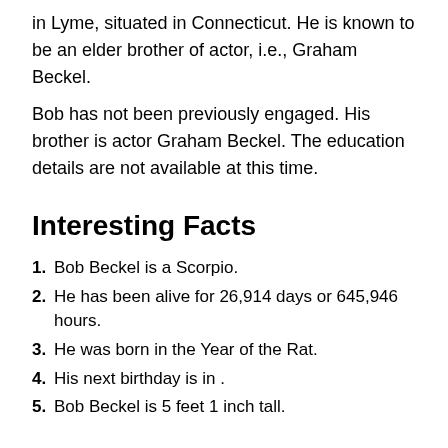in Lyme, situated in Connecticut. He is known to be an elder brother of actor, i.e., Graham Beckel.
Bob has not been previously engaged. His brother is actor Graham Beckel. The education details are not available at this time.
Interesting Facts
1. Bob Beckel is a Scorpio.
2. He has been alive for 26,914 days or 645,946 hours.
3. He was born in the Year of the Rat.
4. His next birthday is in .
5. Bob Beckel is 5 feet 1 inch tall.